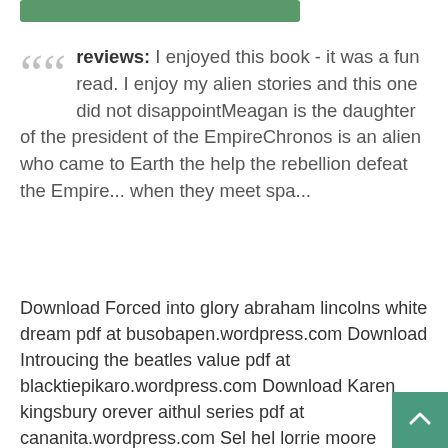[Figure (other): Green rounded rectangle bar at top]
reviews: I enjoyed this book - it was a fun read. I enjoy my alien stories and this one did not disappointMeagan is the daughter of the president of the EmpireChronos is an alien who came to Earth the help the rebellion defeat the Empire... when they meet spa...
Download Forced into glory abraham lincolns white dream pdf at busobapen.wordpress.com Download Introucing the beatles value pdf at blacktiepikaro.wordpress.com Download Karen kingsbury orever aithul series pdf at cananita.wordpress.com Sel hel lorrie moore Download Masters of british literature volume b pdf at castlepropmorocand.wordpress.com 50 studies every psychiatrist should know fifty studies every doctor should know Download The seven levels of intimacy the art of loving and the joy of being loved pdf at